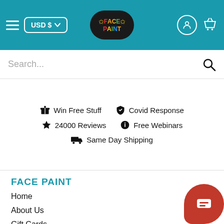[Figure (screenshot): Website header with teal background, hamburger menu, USD$ currency button, Face Paint logo in oval, user icon, and shopping basket icon]
[Figure (screenshot): Search bar with placeholder text 'Search...' and magnifying glass icon]
🎁 Win Free Stuff   🛡 Covid Response
★ 24000 Reviews   ℹ Free Webinars
🚚 Same Day Shipping
FACE PAINT
Home
About Us
Gift Cards
Coupon Codes
Wishlist